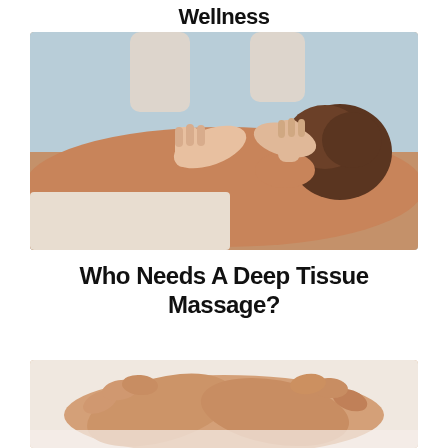Wellness
[Figure (photo): Massage therapist's hands pressing down on a woman's upper back and neck area during a deep tissue massage session. The woman has brown hair pinned up.]
Who Needs A Deep Tissue Massage?
[Figure (photo): Close-up of hands clasped together resting on a white surface, suggesting a relaxed or spa setting.]